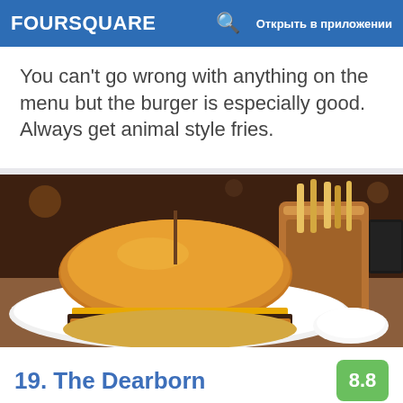FOURSQUARE   🔍   Открыть в приложении
You can't go wrong with anything on the menu but the burger is especially good. Always get animal style fries.
[Figure (photo): Photo of a burger on a white plate next to a copper cup with fries, served on a wooden table]
19. The Dearborn
145 N Dearborn St (Randolph And Dearborn), Чикаго, IL